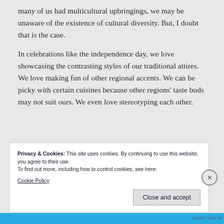many of us had multicultural upbringings, we may be unaware of the existence of cultural diversity. But, I doubt that is the case.
In celebrations like the independence day, we love showcasing the contrasting styles of our traditional attires. We love making fun of other regional accents. We can be picky with certain cuisines because other regions' taste buds may not suit ours. We even love stereotyping each other.
Privacy & Cookies: This site uses cookies. By continuing to use this website, you agree to their use.
To find out more, including how to control cookies, see here:
Cookie Policy